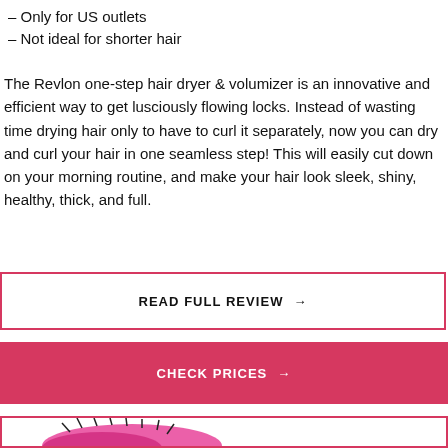– Only for US outlets
– Not ideal for shorter hair
The Revlon one-step hair dryer & volumizer is an innovative and efficient way to get lusciously flowing locks. Instead of wasting time drying hair only to have to curl it separately, now you can dry and curl your hair in one seamless step! This will easily cut down on your morning routine, and make your hair look sleek, shiny, healthy, thick, and full.
READ FULL REVIEW →
CHECK PRICES →
[Figure (photo): Pink Revlon hair dryer brush product image at bottom of page]